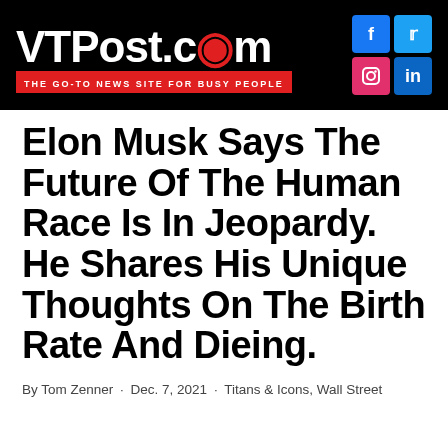VTPost.com — THE GO-TO NEWS SITE FOR BUSY PEOPLE
Elon Musk Says The Future Of The Human Race Is In Jeopardy. He Shares His Unique Thoughts On The Birth Rate And Dieing.
By Tom Zenner · Dec. 7, 2021 · Titans & Icons, Wall Street